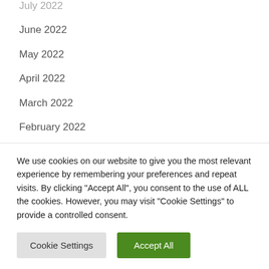July 2022
June 2022
May 2022
April 2022
March 2022
February 2022
January 2022
Categories
COMPUTER
We use cookies on our website to give you the most relevant experience by remembering your preferences and repeat visits. By clicking "Accept All", you consent to the use of ALL the cookies. However, you may visit "Cookie Settings" to provide a controlled consent.